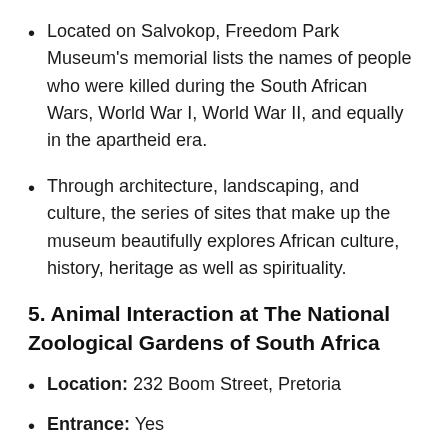Located on Salvokop, Freedom Park Museum's memorial lists the names of people who were killed during the South African Wars, World War I, World War II, and equally in the apartheid era.
Through architecture, landscaping, and culture, the series of sites that make up the museum beautifully explores African culture, history, heritage as well as spirituality.
5. Animal Interaction at The National Zoological Gardens of South Africa
Location: 232 Boom Street, Pretoria
Entrance: Yes
Website: www.pretoriazoo.org